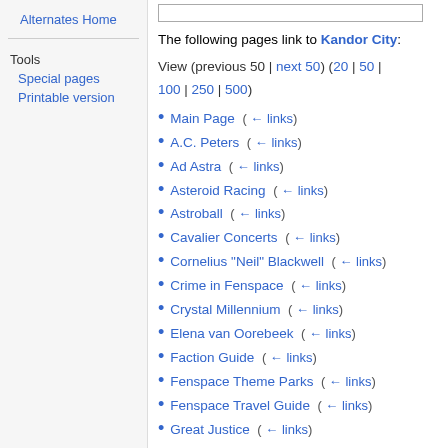Alternates Home
Tools
Special pages
Printable version
The following pages link to Kandor City:
View (previous 50 | next 50) (20 | 50 | 100 | 250 | 500)
Main Page  ( ← links)
A.C. Peters  ( ← links)
Ad Astra  ( ← links)
Asteroid Racing  ( ← links)
Astroball  ( ← links)
Cavalier Concerts  ( ← links)
Cornelius "Neil" Blackwell  ( ← links)
Crime in Fenspace  ( ← links)
Crystal Millennium  ( ← links)
Elena van Oorebeek  ( ← links)
Faction Guide  ( ← links)
Fenspace Theme Parks  ( ← links)
Fenspace Travel Guide  ( ← links)
Great Justice  ( ← links)
Jessica 'Jess' Ayanami  ( ← links)